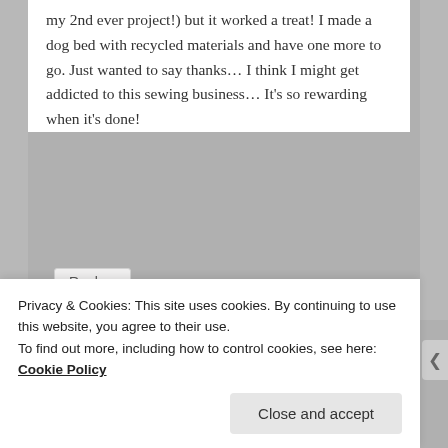my 2nd ever project!) but it worked a treat! I made a dog bed with recycled materials and have one more to go. Just wanted to say thanks… I think I might get addicted to this sewing business… It's so rewarding when it's done!
Reply ↓
Rach on April 21, 2015 at 6:28 am said:
That's brilliant – thanks so much for the feedback. I was a complete novice as well
Privacy & Cookies: This site uses cookies. By continuing to use this website, you agree to their use.
To find out more, including how to control cookies, see here: Cookie Policy
Close and accept